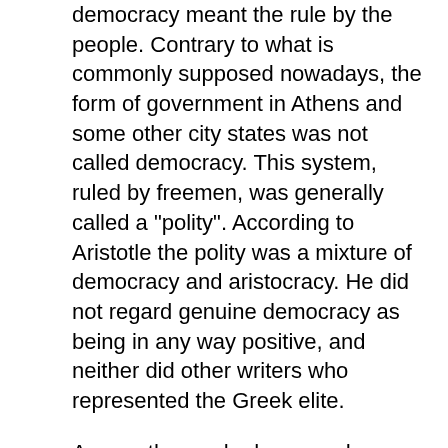democracy meant the rule by the people. Contrary to what is commonly supposed nowadays, the form of government in Athens and some other city states was not called democracy. This system, ruled by freemen, was generally called a "polity". According to Aristotle the polity was a mixture of democracy and aristocracy. He did not regard genuine democracy as being in any way positive, and neither did other writers who represented the Greek elite.
Among those who have made themselves immortal through literature the same negative view of democracy was dominant up until modern times. The French Revolution changed the situation in continental Europe. In widespread social movements and among numerous writers in the final decades of the